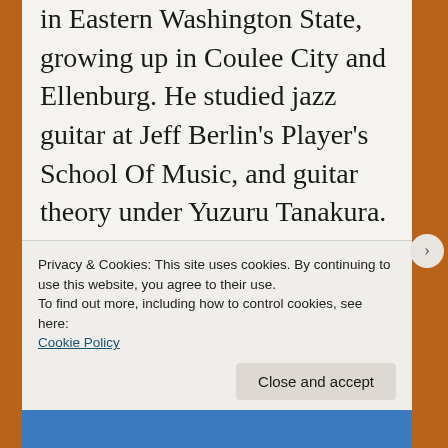in Eastern Washington State, growing up in Coulee City and Ellenburg. He studied jazz guitar at Jeff Berlin's Player's School Of Music, and guitar theory under Yuzuru Tanakura. For a while, Shane got involved in missionary work, and upon his return to the States was encouraged to move to Nashville, which he eventually did. Since then, he has released some highly successful EPs including Genrelicious and Fast Friends, which garnered rotation on
Privacy & Cookies: This site uses cookies. By continuing to use this website, you agree to their use.
To find out more, including how to control cookies, see here: Cookie Policy
Close and accept